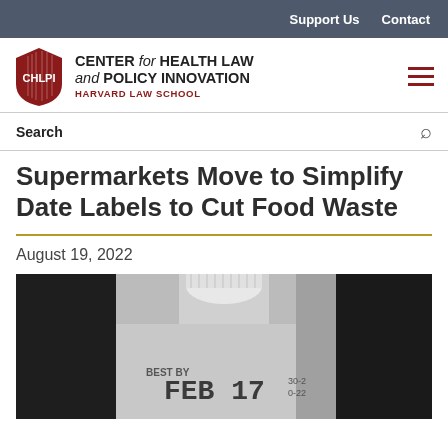Support Us   Contact
[Figure (logo): CHLPI shield logo and text: CENTER for HEALTH LAW and POLICY INNOVATION, HARVARD LAW SCHOOL]
Search
Supermarkets Move to Simplify Date Labels to Cut Food Waste
August 19, 2022
[Figure (photo): Black and white close-up photo of a milk jug showing expiration date FEB 17 stamped on the plastic]